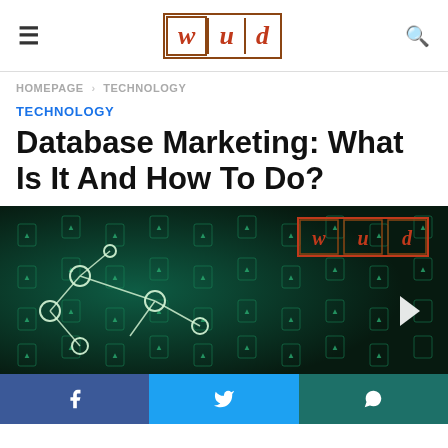WUD — hamburger menu, logo, search icon
HOMEPAGE > TECHNOLOGY
TECHNOLOGY
Database Marketing: What Is It And How To Do?
[Figure (photo): Dark teal/green digital background showing a grid of mobile phone icons with human silhouettes connected by glowing white lines resembling a network or marketing database concept. WUD logo watermark visible in top-right corner. A white triangle/play arrow visible at right side.]
Social share buttons: Facebook, Twitter, WhatsApp